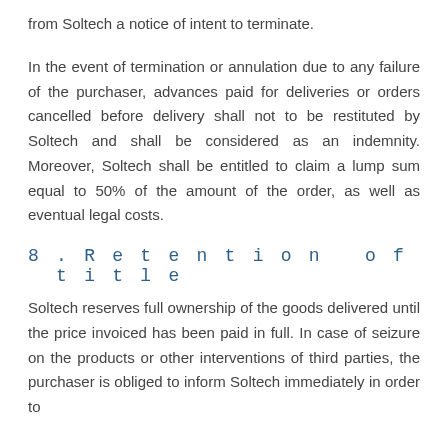from Soltech a notice of intent to terminate.
In the event of termination or annulation due to any failure of the purchaser, advances paid for deliveries or orders cancelled before delivery shall not to be restituted by Soltech and shall be considered as an indemnity. Moreover, Soltech shall be entitled to claim a lump sum equal to 50% of the amount of the order, as well as eventual legal costs.
8.Retention of title
Soltech reserves full ownership of the goods delivered until the price invoiced has been paid in full. In case of seizure on the products or other interventions of third parties, the purchaser is obliged to inform Soltech immediately in order to enable Soltech to have its interests preserved.